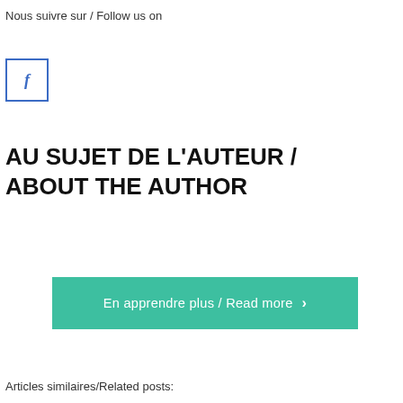Nous suivre sur / Follow us on
[Figure (logo): Facebook icon: a square box with border containing the letter 'f' in blue]
AU SUJET DE L'AUTEUR / ABOUT THE AUTHOR
En apprendre plus / Read more >
Articles similaires/Related posts: